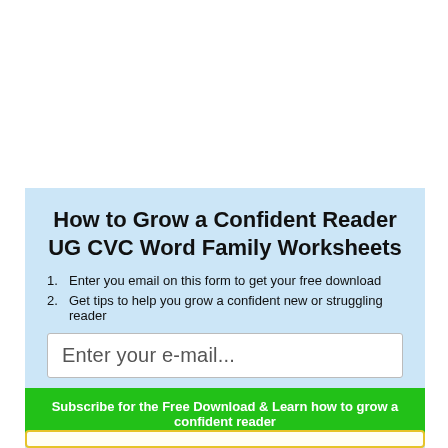How to Grow a Confident Reader UG CVC Word Family Worksheets
1. Enter you email on this form to get your free download
2. Get tips to help you grow a confident new or struggling reader
Enter your e-mail...
Subscribe for the Free Download & Learn how to grow a confident reader
When you join Mrs. Karle's Sight and Sound Reading
you will learn how to break free from patching together reading lessons
and learn how to grow a confident reader.